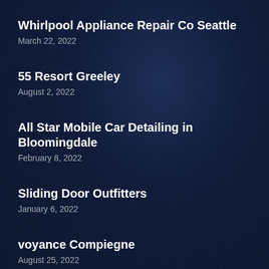Whirlpool Appliance Repair Co Seattle
March 22, 2022
55 Resort Greeley
August 2, 2022
All Star Mobile Car Detailing in Bloomingdale
February 8, 2022
Sliding Door Outfitters
January 6, 2022
voyance Compiegne
August 25, 2022